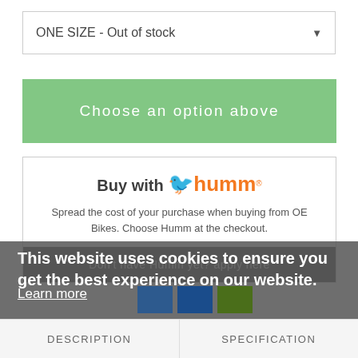ONE SIZE - Out of stock
Choose an option above
Buy with humm®
Spread the cost of your purchase when buying from OE Bikes. Choose Humm at the checkout.
Don't have Humm yet? apply here
This website uses cookies to ensure you get the best experience on our website.
Learn more
Got it!
DESCRIPTION
SPECIFICATION